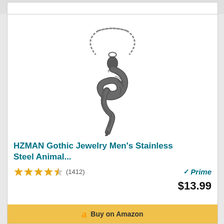BESTSELLER NO. 2
[Figure (photo): HZMAN Gothic Jewelry Men's Stainless Steel snake pendant necklace on a chain, shown on white background]
HZMAN Gothic Jewelry Men's Stainless Steel Animal...
4.5 stars (1412) Prime $13.99
Buy on Amazon